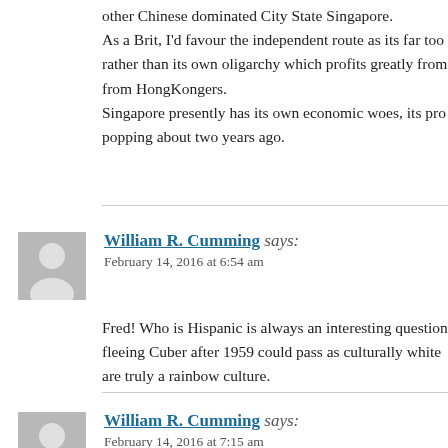other Chinese dominated City State Singapore.
As a Brit, I'd favour the independent route as its far too rather than its own oligarchy which profits greatly from from HongKongers.
Singapore presently has its own economic woes, its pro popping about two years ago.
[Figure (illustration): Generic user avatar icon (gray silhouette of a person)]
William R. Cumming says:
February 14, 2016 at 6:54 am
Fred! Who is Hispanic is always an interesting question fleeing Cuber after 1959 could pass as culturally white are truly a rainbow culture.
[Figure (illustration): Generic user avatar icon (gray silhouette of a person)]
William R. Cumming says:
February 14, 2016 at 7:15 am